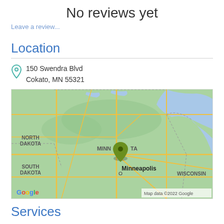No reviews yet
Leave a review...
Location
150 Swendra Blvd
Cokato, MN 55321
[Figure (map): Google Maps showing Minnesota region with a location pin near Minneapolis/Cokato area. Labels visible: NORTH DAKOTA, SOUTH DAKOTA, MINNESOTA, Minneapolis, WISCONSIN. Map data ©2022 Google.]
Services